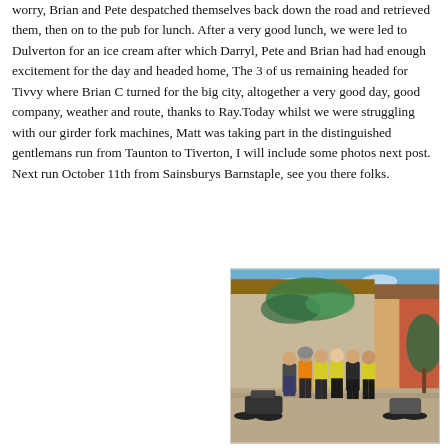worry, Brian and Pete despatched themselves back down the road and retrieved them, then on to the pub for lunch. After a very good lunch, we were led to Dulverton for an ice cream after which Darryl, Pete and Brian had had enough excitement for the day and headed home, The 3 of us remaining headed for Tivvy where Brian C turned for the big city, altogether a very good day, good company, weather and route, thanks to Ray.Today whilst we were struggling with our girder fork machines, Matt was taking part in the distinguished gentlemans run from Taunton to Tiverton, I will include some photos next post. Next run October 11th from Sainsburys Barnstaple, see you there folks.
[Figure (photo): Group of motorcyclists wearing high-visibility vests standing next to motorcycles outside a building with ivy-covered walls, on a sunny day.]